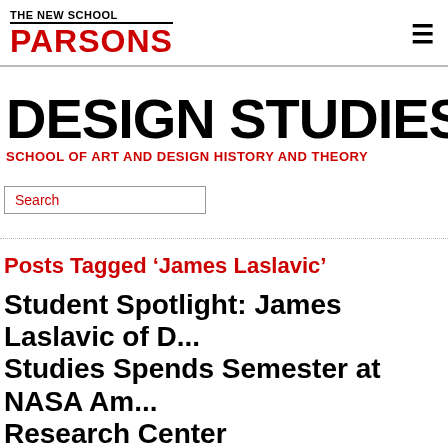THE NEW SCHOOL PARSONS
DESIGN STUDIES (M...
SCHOOL OF ART AND DESIGN HISTORY AND THEORY
Search
Posts Tagged ‘James Laslavic’
Student Spotlight: James Laslavic of D... Studies Spends Semester at NASA Am... Research Center